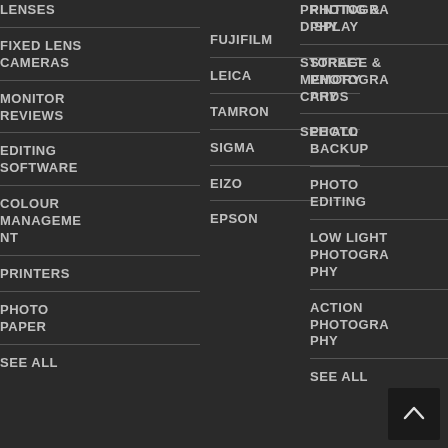LENSES
FIXED LENS CAMERAS
MONITOR REVIEWS
EDITING SOFTWARE
COLOUR MANAGEMENT
PRINTERS
PHOTO PAPER
SEE ALL
FUJIFILM
LEICA
TAMRON
SIGMA
EIZO
EPSON
PRINTING & DISPLAY
STORAGE & MEMORY CARDS
SEE ALL
PHOTOGRAPHY
STREET PHOTOGRAPHY
PHOTO BACKUP
PHOTO EDITING
LOW LIGHT PHOTOGRAPHY
ACTION PHOTOGRAPHY
SEE ALL